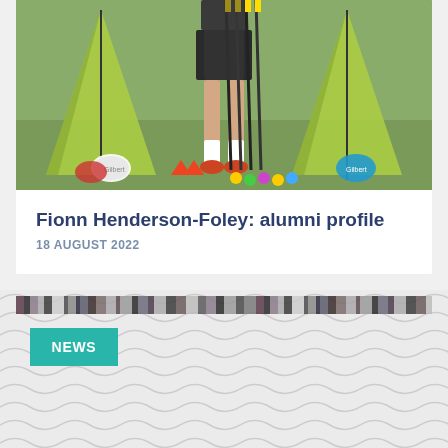[Figure (photo): Person standing outdoors on grass field with green pop-up goal nets, rugby balls, training cones, and sports equipment arranged around their feet]
Fionn Henderson-Foley: alumni profile
18 AUGUST 2022
[Figure (photo): Horizontal decorative image strip banner]
NEWS